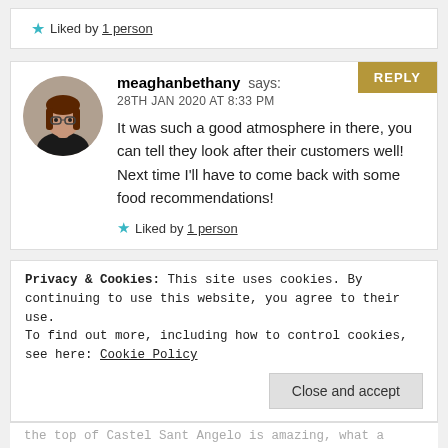★ Liked by 1person
meaghanbethany says:
28TH JAN 2020 AT 8:33 PM
It was such a good atmosphere in there, you can tell they look after their customers well! Next time I'll have to come back with some food recommendations!
★ Liked by 1person
Privacy & Cookies: This site uses cookies. By continuing to use this website, you agree to their use.
To find out more, including how to control cookies, see here: Cookie Policy
Close and accept
the top of Castel Sant Angelo is amazing, what a